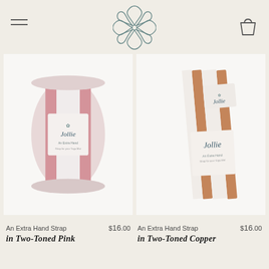[Figure (logo): Jollie brand logo - decorative flower/bow icon in outline style, centered at top of page]
[Figure (photo): Rolled pink and white striped yoga/hand strap with Jollie branded label, product photo on white background]
[Figure (photo): Rolled copper/tan and white striped yoga/hand strap with Jollie branded label, product photo on white background]
An Extra Hand Strap $16.00
in Two-Toned Pink
An Extra Hand Strap $16.00
in Two-Toned Copper